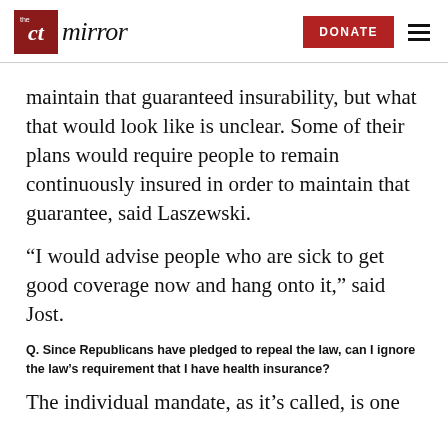the CT mirror — DONATE [menu]
maintain that guaranteed insurability, but what that would look like is unclear. Some of their plans would require people to remain continuously insured in order to maintain that guarantee, said Laszewski.
“I would advise people who are sick to get good coverage now and hang onto it,” said Jost.
Q. Since Republicans have pledged to repeal the law, can I ignore the law’s requirement that I have health insurance?
The individual mandate, as it’s called, is one